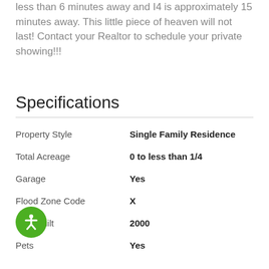less than 6 minutes away and I4 is approximately 15 minutes away. This little piece of heaven will not last! Contact your Realtor to schedule your private showing!!!
Specifications
| Field | Value |
| --- | --- |
| Property Style | Single Family Residence |
| Total Acreage | 0 to less than 1/4 |
| Garage | Yes |
| Flood Zone Code | X |
| Year Built | 2000 |
| Pets | Yes |